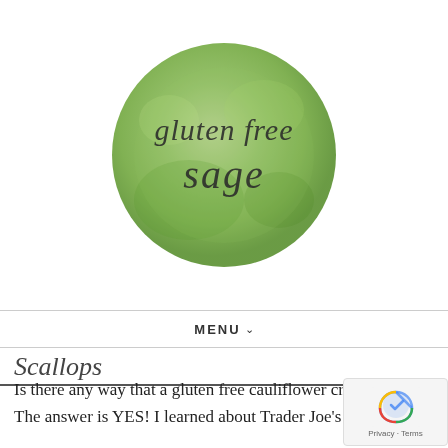[Figure (logo): Gluten Free Sage logo: a green watercolor circle with cursive/script text reading 'gluten free sage']
MENU
Scallops
Is there any way that a gluten free cauliflower crust pizza could offer a delicious alternative to the crusted original version? The answer is YES! I learned about Trader Joe's Gluten Free Cauliflower